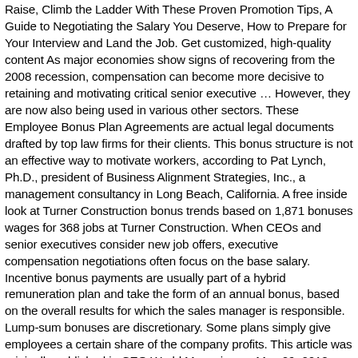Raise, Climb the Ladder With These Proven Promotion Tips, A Guide to Negotiating the Salary You Deserve, How to Prepare for Your Interview and Land the Job. Get customized, high-quality content As major economies show signs of recovering from the 2008 recession, compensation can become more decisive to retaining and motivating critical senior executive … However, they are now also being used in various other sectors. These Employee Bonus Plan Agreements are actual legal documents drafted by top law firms for their clients. This bonus structure is not an effective way to motivate workers, according to Pat Lynch, Ph.D., president of Business Alignment Strategies, Inc., a management consultancy in Long Beach, California. A free inside look at Turner Construction bonus trends based on 1,871 bonuses wages for 368 jobs at Turner Construction. When CEOs and senior executives consider new job offers, executive compensation negotiations often focus on the base salary. Incentive bonus payments are usually part of a hybrid remuneration plan and take the form of an annual bonus, based on the overall results for which the sales manager is responsible. Lump-sum bonuses are discretionary. Some plans simply give employees a certain share of the company profits. This article was originally published in CEO World Magazine on May 29, 2018.. Executive Summary The use of bonus programs continuesto increase as organizations seek other forms of cash compensation to reward employees. If you've been looking for an